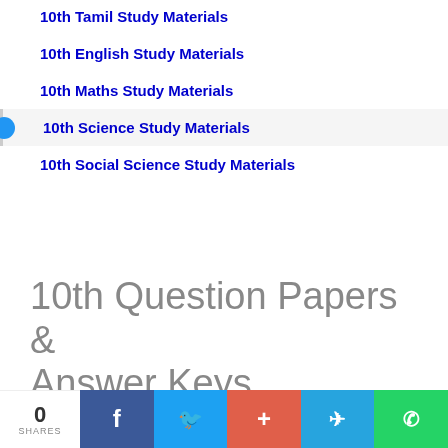10th Tamil Study Materials
10th English Study Materials
10th Maths Study Materials
10th Science Study Materials
10th Social Science Study Materials
10th Question Papers & Answer Keys
0 SHARES | Facebook | Twitter | + | Telegram | WhatsApp